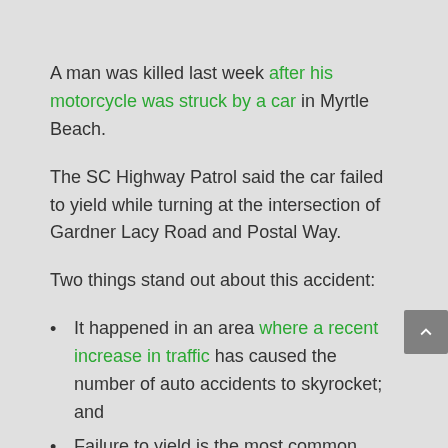A man was killed last week after his motorcycle was struck by a car in Myrtle Beach.
The SC Highway Patrol said the car failed to yield while turning at the intersection of Gardner Lacy Road and Postal Way.
Two things stand out about this accident:
It happened in an area where a recent increase in traffic has caused the number of auto accidents to skyrocket; and
Failure to yield is the most common cause of